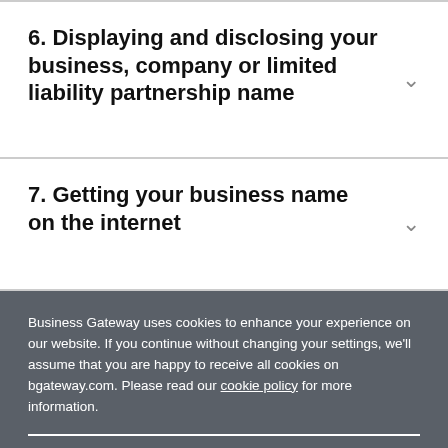6. Displaying and disclosing your business, company or limited liability partnership name
7. Getting your business name on the internet
Business Gateway uses cookies to enhance your experience on our website. If you continue without changing your settings, we'll assume that you are happy to receive all cookies on bgateway.com. Please read our cookie policy for more information.
Accept & Close